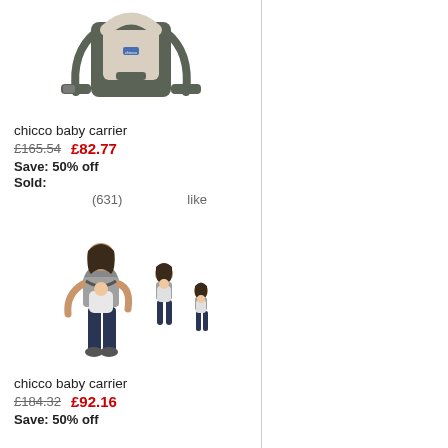[Figure (photo): Chicco baby carrier product image - grey backpack-style baby carrier]
chicco baby carrier
£165.54  £82.77
Save: 50% off
Sold:
(631)  like
[Figure (photo): Chicco baby carrier product image - shown being worn by woman with baby, multiple size comparison figures]
chicco baby carrier
£184.32  £92.16
Save: 50% off